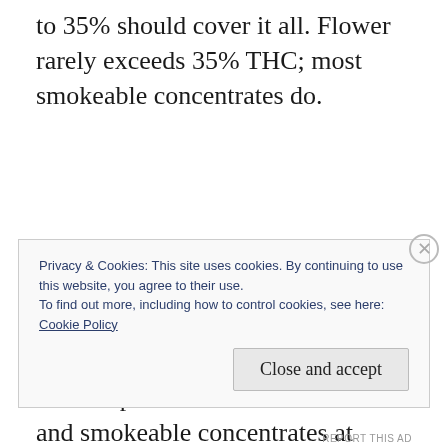to 35% should cover it all. Flower rarely exceeds 35% THC; most smokeable concentrates do.
Leaving aside the weakness of ad valorem taxes, why didn't they just tax raw plant material at one rate and smokeable concentrates at another? The rush of getting
Privacy & Cookies: This site uses cookies. By continuing to use this website, you agree to their use.
To find out more, including how to control cookies, see here:
Cookie Policy
Close and accept